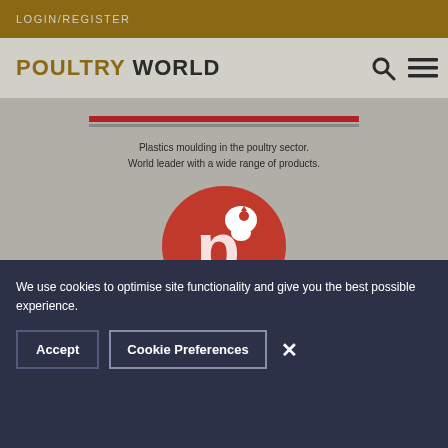LOGIN/REGISTER
[Figure (logo): Poultry World logo with search and hamburger menu icons]
[Figure (logo): Giordano company advertisement with red oval rooster logo and tagline: Plastics moulding in the poultry sector. World leader with a wide range of products.]
We use cookies to optimise site functionality and give you the best possible experience.
Accept
Cookie Preferences